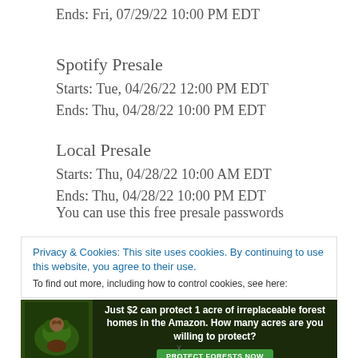Ends: Fri, 07/29/22 10:00 PM EDT
Spotify Presale
Starts: Tue, 04/26/22 12:00 PM EDT
Ends: Thu, 04/28/22 10:00 PM EDT
Local Presale
Starts: Thu, 04/28/22 10:00 AM EDT
Ends: Thu, 04/28/22 10:00 PM EDT
You can use this free presale passwords
Privacy & Cookies: This site uses cookies. By continuing to use this website, you agree to their use.
To find out more, including how to control cookies, see here:
[Figure (infographic): Advertisement banner: Just $2 can protect 1 acre of irreplaceable forest homes in the Amazon. How many acres are you willing to protect? PROTECT FORESTS NOW]
x